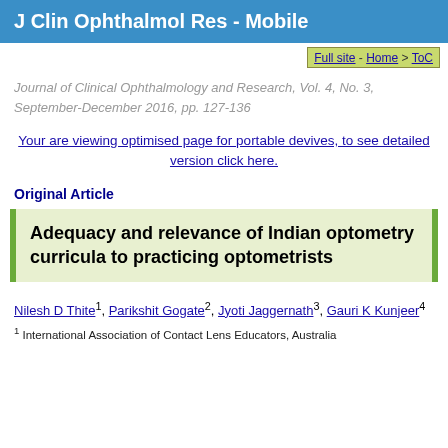J Clin Ophthalmol Res - Mobile
Full site - Home > ToC
Journal of Clinical Ophthalmology and Research, Vol. 4, No. 3, September-December 2016, pp. 127-136
Your are viewing optimised page for portable devives, to see detailed version click here.
Original Article
Adequacy and relevance of Indian optometry curricula to practicing optometrists
Nilesh D Thite1, Parikshit Gogate2, Jyoti Jaggernath3, Gauri K Kunjeer4
1 International Association of Contact Lens Educators, Australia